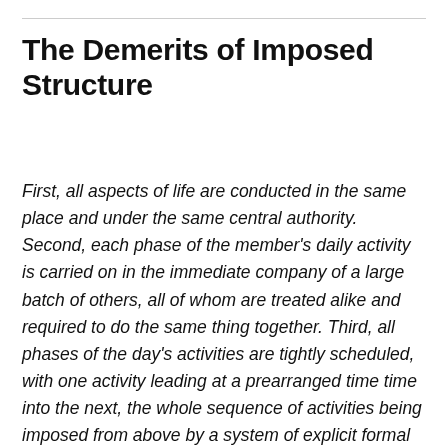The Demerits of Imposed Structure
First, all aspects of life are conducted in the same place and under the same central authority. Second, each phase of the member's daily activity is carried on in the immediate company of a large batch of others, all of whom are treated alike and required to do the same thing together. Third, all phases of the day's activities are tightly scheduled, with one activity leading at a prearranged time time into the next, the whole sequence of activities being imposed from above by a system of explicit formal rulings and a body of officials. Finally, the various enforced activities are brought together into a single plan purportedly designed to fulfill the official aims of the